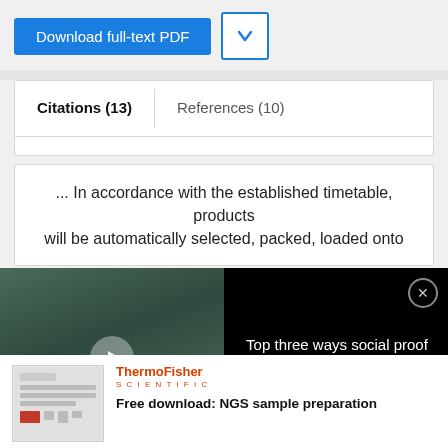[Figure (screenshot): Blue 'Download full-text PDF' button and a chevron dropdown button]
Citations (13)	References (10)
... In accordance with the established timetable, products will be automatically selected, packed, loaded onto
[Figure (screenshot): Video overlay showing 'Top three ways social proof can boost your organic reach and engagement' with laboratory thumbnail and close button]
[Figure (logo): ThermoFisher Scientific logo with advertisement: Free download: NGS sample preparation]